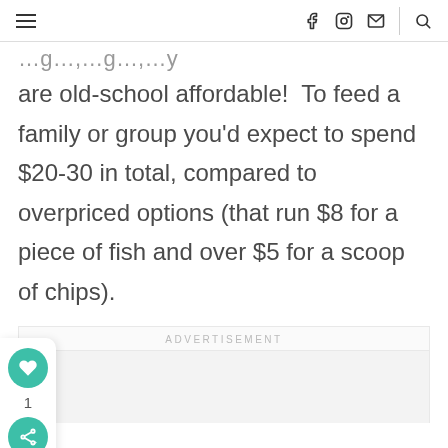[navigation bar with hamburger menu, social icons, and search]
…g…y…g…y
are old-school affordable!  To feed a family or group you'd expect to spend $20-30 in total, compared to overpriced options (that run $8 for a piece of fish and over $5 for a scoop of chips).
ADVERTISEMENT